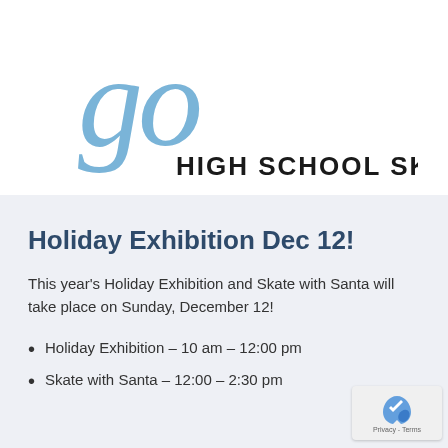[Figure (logo): Go High School Skating logo — stylized cursive 'go' in light blue above bold uppercase 'HIGH SCHOOL SKATING' text]
Holiday Exhibition Dec 12!
This year's Holiday Exhibition and Skate with Santa will take place on Sunday, December 12!
Holiday Exhibition – 10 am – 12:00 pm
Skate with Santa – 12:00 – 2:30 pm